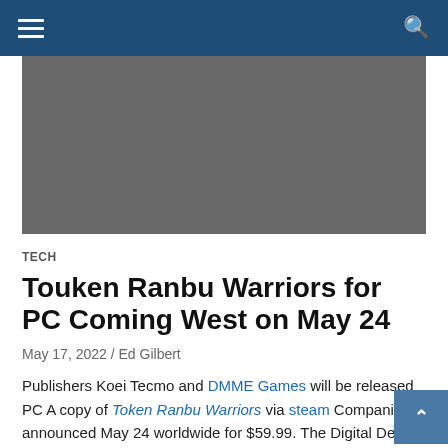Navigation bar with hamburger menu and search icon
[Figure (photo): Dark gray hero image placeholder for Touken Ranbu Warriors article]
TECH
Touken Ranbu Warriors for PC Coming West on May 24
May 17, 2022 / Ed Gilbert
Publishers Koei Tecmo and DMME Games will be released PC A copy of Token Ranbu Warriors via steam Companies announced May 24 worldwide for $59.99. The Digital Deluxe Edition will also be available for $109.99. Offer is now available.